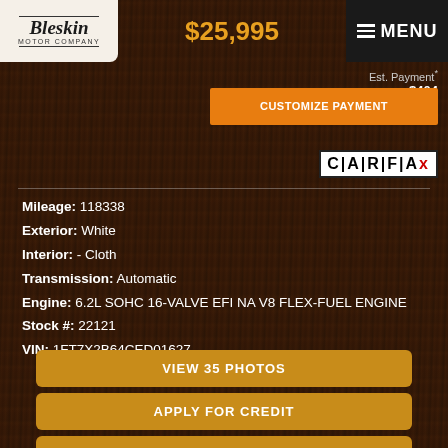[Figure (logo): Bleskin Motor Company logo on light background]
$25,995
MENU
Est. Payment* $404
CUSTOMIZE PAYMENT
[Figure (logo): CARFAX logo]
Mileage: 118338
Exterior: White
Interior: - Cloth
Transmission: Automatic
Engine: 6.2L SOHC 16-VALVE EFI NA V8 FLEX-FUEL ENGINE
Stock #: 22121
VIN: 1FT7X2B64CED01627
VIEW 35 PHOTOS
APPLY FOR CREDIT
GET EBROCHURE
VIEW MAP